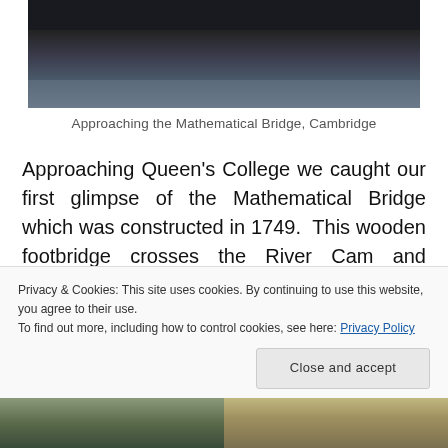[Figure (photo): Partial photo of people approaching the Mathematical Bridge, Cambridge. Dark-toned image showing figures in winter clothing.]
Approaching the Mathematical Bridge, Cambridge
Approaching Queen's College we caught our first glimpse of the Mathematical Bridge which was constructed in 1749.  This wooden footbridge crosses the River Cam and connects the two parts of Queen's College.  The original bridge was made from oak but the current structure is a teak replica
Privacy & Cookies: This site uses cookies. By continuing to use this website, you agree to their use.
To find out more, including how to control cookies, see here: Privacy Policy
[Figure (photo): Partial photos at bottom of page showing outdoor scenes, trees and buildings.]